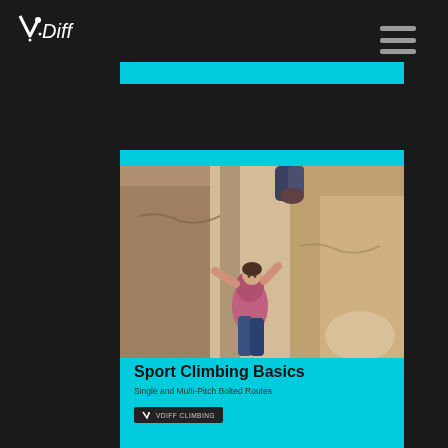[Figure (logo): V.Diff logo in white on dark background, top left]
[Figure (illustration): Hamburger menu icon, three horizontal grey lines, top right]
[Figure (other): Cyan horizontal bar near top of page]
[Figure (photo): Book cover for Sport Climbing Basics showing a climber ascending a rocky crack/chimney route. Cyan background with photo and text.]
Sport Climbing Basics
Single and Multi-Pitch Bolted Routes
[Figure (logo): VDiff Climbing logo badge in dark pill shape]
[Figure (other): Cyan horizontal bar at bottom of page]